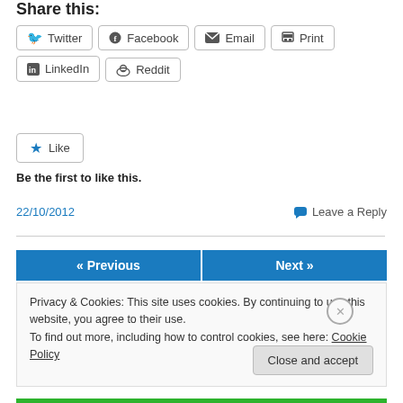Share this:
Twitter  Facebook  Email  Print  LinkedIn  Reddit
[Figure (other): Like button with star icon]
Be the first to like this.
22/10/2012
Leave a Reply
« Previous   Next »
Privacy & Cookies: This site uses cookies. By continuing to use this website, you agree to their use. To find out more, including how to control cookies, see here: Cookie Policy
Close and accept